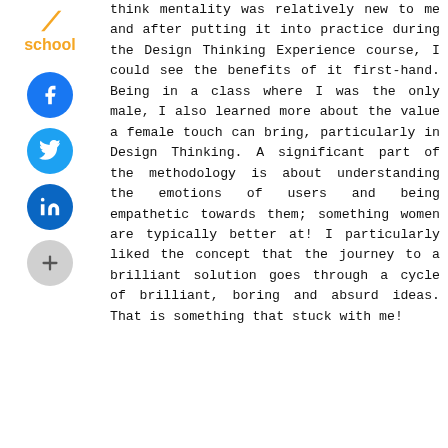[Figure (logo): Slash and 'school' text logo in orange]
[Figure (logo): Facebook share button (blue circle with f icon)]
[Figure (logo): Twitter share button (blue circle with bird icon)]
[Figure (logo): LinkedIn share button (dark blue circle with in icon)]
[Figure (logo): More share button (gray circle with + icon)]
think mentality was relatively new to me and after putting it into practice during the Design Thinking Experience course, I could see the benefits of it first-hand. Being in a class where I was the only male, I also learned more about the value a female touch can bring, particularly in Design Thinking. A significant part of the methodology is about understanding the emotions of users and being empathetic towards them; something women are typically better at! I particularly liked the concept that the journey to a brilliant solution goes through a cycle of brilliant, boring and absurd ideas. That is something that stuck with me!